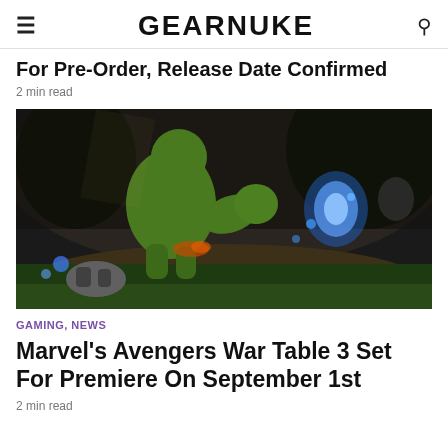GEARNUKE
For Pre-Order, Release Date Confirmed
2 min read
[Figure (photo): Video game screenshot showing the Hulk charging at an enemy in a dark forest/cave environment with blue glowing energy effects and green grass in the foreground. Game: Marvel's Avengers.]
GAMING, NEWS
Marvel's Avengers War Table 3 Set For Premiere On September 1st
2 min read